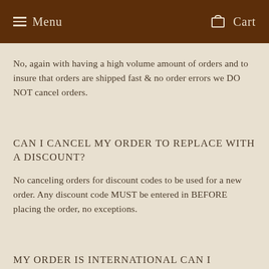Menu   Cart
No, again with having a high volume amount of orders and to insure that orders are shipped fast & no order errors we DO NOT cancel orders.
CAN I CANCEL MY ORDER TO REPLACE WITH A DISCOUNT?
No canceling orders for discount codes to be used for a new order. Any discount code MUST be entered in BEFORE placing the order, no exceptions.
MY ORDER IS INTERNATIONAL CAN I RETURN?